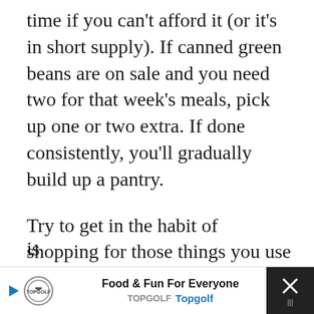time if you can't afford it (or it's in short supply). If canned green beans are on sale and you need two for that week's meals, pick up one or two extra. If done consistently, you'll gradually build up a pantry.
Try to get in the habit of shopping for those things you use all the time before you run out. As you open your extra jar of mayonnaise from the pantry, put it on your shopping list. When an item you want is...
[Figure (other): Advertisement banner for Topgolf: 'Food & Fun For Everyone' with Topgolf logo, play button, navigation arrow icon, and close/X button on dark background]